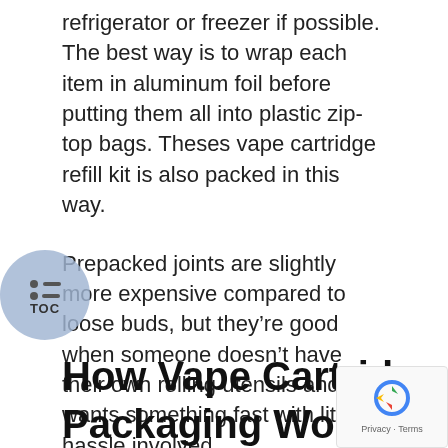refrigerator or freezer if possible. The best way is to wrap each item in aluminum foil before putting them all into plastic zip-top bags. Theses vape cartridge refill kit is also packed in this way.
Prepacked joints are slightly more expensive compared to loose buds, but they’re good when someone doesn’t have their own rolling utensils and wants something fast with little hassle involved.
Each package of the product must be labeled with quantity, weight, strain type (if known), date prepared, as well as any other important information such as the strain’s THC/CBD profile.
How Vape Cartridge Packaging Works?